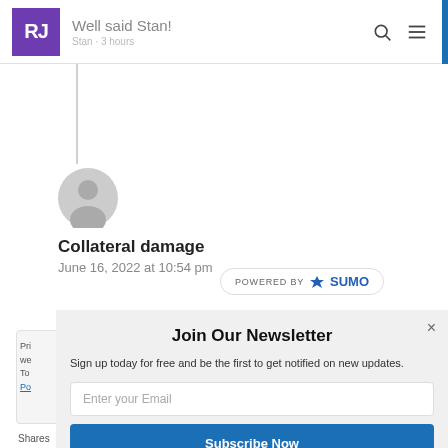RJ | Well said Stan!
[Figure (illustration): User avatar: gray circle with silhouette head shape]
Collateral damage
June 16, 2022 at 10:54 pm
[Figure (logo): POWERED BY SUMO badge with crown icon]
Join Our Newsletter
Sign up today for free and be the first to get notified on new updates.
Enter your Email
Subscribe Now
Shares